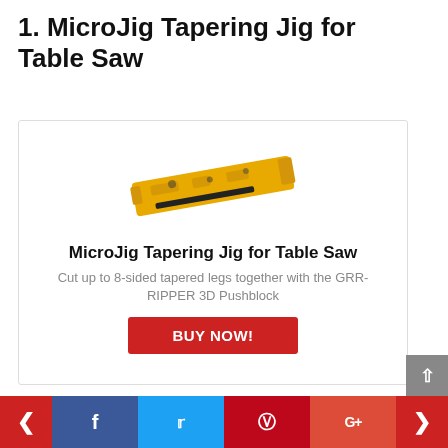1. MicroJig Tapering Jig for Table Saw
[Figure (photo): Photo of MicroJig Tapering Jig for Table Saw — yellow metal jig tool]
MicroJig Tapering Jig for Table Saw
Cut up to 8-sided tapered legs together with the GRR-RIPPER 3D Pushblock
BUY NOW!
If you plan to use your dowel jig regularly and repeatedly is the best dowd able, strong and
[Figure (infographic): Bottom navigation and social sharing bar: left arrow, Facebook, Twitter, Pinterest, Google+, right arrow, scroll-to-top button]